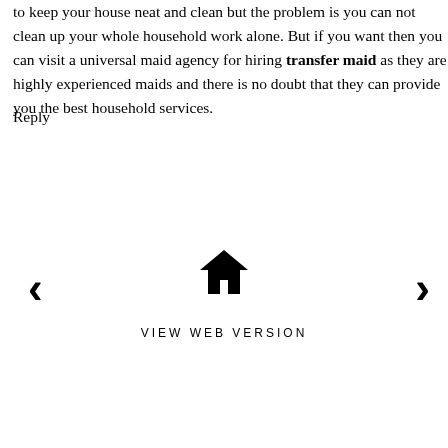to keep your house neat and clean but the problem is you can not clean up your whole household work alone. But if you want then you can visit a universal maid agency for hiring transfer maid as they are highly experienced maids and there is no doubt that they can provide you the best household services.
Reply
[Figure (infographic): Navigation bar with left arrow, home icon, right arrow, and VIEW WEB VERSION text]